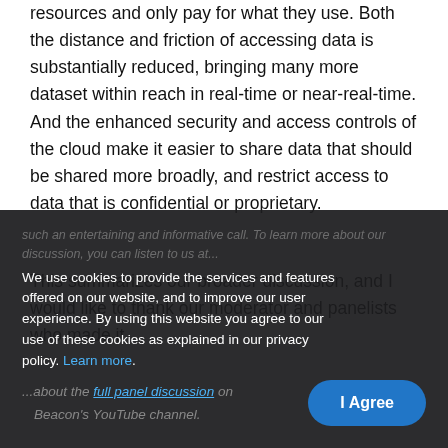resources and only pay for what they use. Both the distance and friction of accessing data is substantially reduced, bringing many more dataset within reach in real-time or near-real-time. And the enhanced security and access controls of the cloud make it easier to share data that should be shared more broadly, and restrict access to data that is confidential or proprietary.
This summarizes our broader discussion, and I would like to thank our moderator and panelists who made it such an entertaining and informative call. To learn more about our discussion, you can listen to...
We use cookies to provide the services and features offered on our website, and to improve our user experience. By using this website you agree to our use of these cookies as explained in our privacy policy. Learn more
...about the full panel discussion on Beacon's YouTube channel.